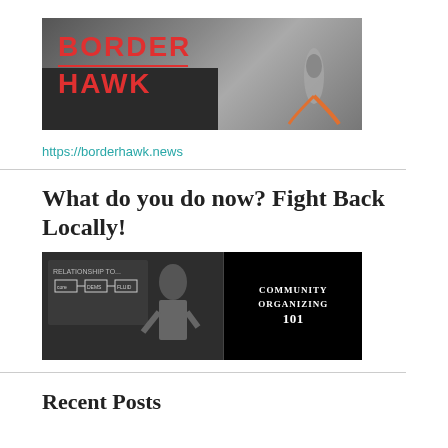[Figure (logo): Border Hawk logo with hawk bird and border wall landscape, dark monochrome photo background with red text BORDER HAWK]
https://borderhawk.news
What do you do now? Fight Back Locally!
[Figure (photo): Photo of man writing on chalkboard with diagram, next to black panel text reading Community Organizing 101]
Recent Posts